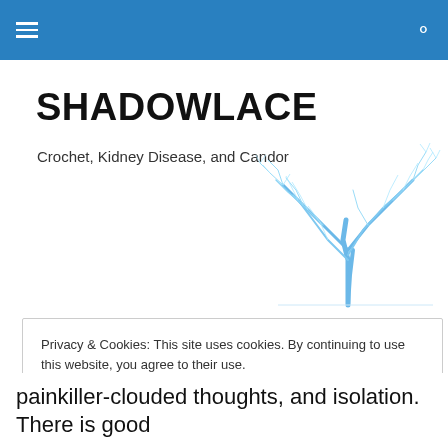SHADOWLACE — navigation header
SHADOWLACE
Crochet, Kidney Disease, and Candor
[Figure (illustration): A blue winter tree with bare branches silhouetted against a white background]
Privacy & Cookies: This site uses cookies. By continuing to use this website, you agree to their use.
To find out more, including how to control cookies, see here: Cookie Policy
Close and accept
painkiller-clouded thoughts, and isolation. There is good